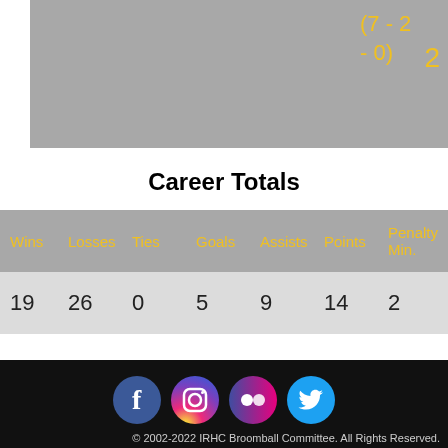(7 - 2 - 0)
2
Career Totals
| Wins | Losses | Ties | Goals | Assists | Points | Penalty Min. |
| --- | --- | --- | --- | --- | --- | --- |
| 19 | 26 | 0 | 5 | 9 | 14 | 2 |
[Figure (logo): Facebook logo circle]
[Figure (logo): Instagram logo circle]
[Figure (logo): Flickr logo circle]
[Figure (logo): Twitter logo circle]
© 2002-2022 IRHC Broomball Committee. All Rights Reserved.